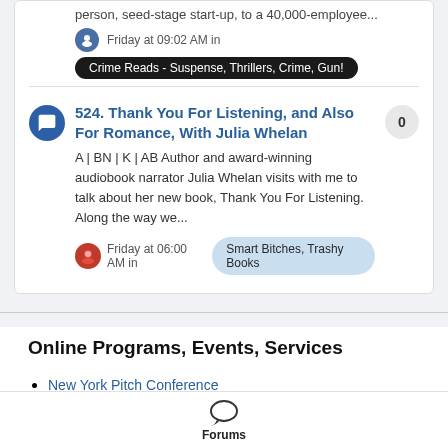person, seed-stage start-up, to a 40,000-employee...
Friday at 09:02 AM in
Crime Reads - Suspense, Thrillers, Crime, Gun!
524. Thank You For Listening, and Also For Romance, With Julia Whelan
A | BN | K | AB Author and award-winning audiobook narrator Julia Whelan visits with me to talk about her new book, Thank You For Listening. Along the way we...
Friday at 06:00 AM in
Smart Bitches, Trashy Books
Online Programs, Events, Services
New York Pitch Conference
Algonkian Novel Writing Program
Forums